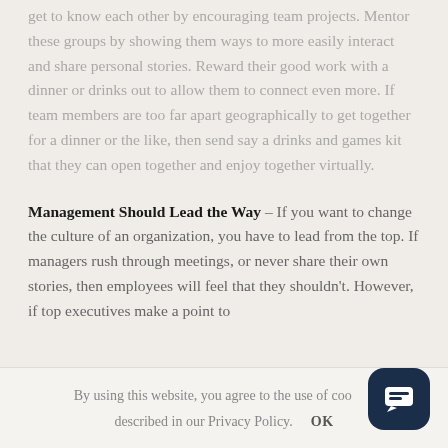get to know each other by encouraging team projects. Mentor these groups by showing them ways to more easily interact and share personal stories. Reward their good work with a dinner or drinks out to allow them to connect even more. If team members are too far apart geographically to get together for a dinner or the like, then send say a drinks and games kit that they can open together and enjoy together virtually.
Management Should Lead the Way – If you want to change the culture of an organization, you have to lead from the top. If managers rush through meetings, or never share their own stories, then employees will feel that they shouldn't. However, if top executives make a point to
By using this website, you agree to the use of cookies described in our Privacy Policy.